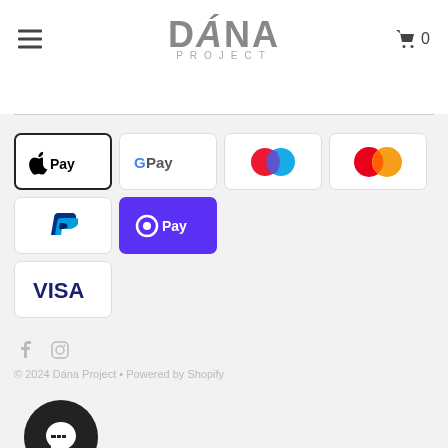DANA PROJECT
[Figure (logo): Dana Project brand logo with hamburger menu icon on left and shopping cart with 0 on right]
[Figure (infographic): Payment method icons: Apple Pay, Google Pay, Maestro, Mastercard, PayPal, Shopify Pay, Visa]
© 2024 Dana Project • Powered by Shopify